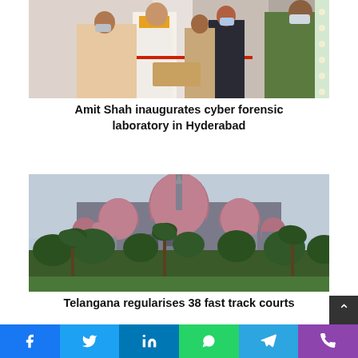[Figure (photo): Amit Shah cutting a ribbon at the inauguration of a cyber forensic laboratory in Hyderabad, surrounded by officials some wearing face masks]
Amit Shah inaugurates cyber forensic laboratory in Hyderabad
[Figure (photo): Telangana High Court building with pink domes and palm trees in the foreground]
Telangana regularises 38 fast track courts